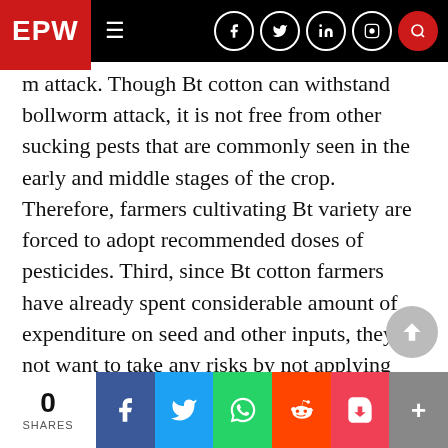EPW
m attack. Though Bt cotton can withstand bollworm attack, it is not free from other sucking pests that are commonly seen in the early and middle stages of the crop. Therefore, farmers cultivating Bt variety are forced to adopt recommended doses of pesticides. Third, since Bt cotton farmers have already spent considerable amount of expenditure on seed and other inputs, they do not want to take any risks by not applying required levels of pesticides. Fourth, most farmers still adopt pesticides based on their own or co-farmers’ experience and therefore, the use of pesticides is found to be higher among the Bt
0 SHARES